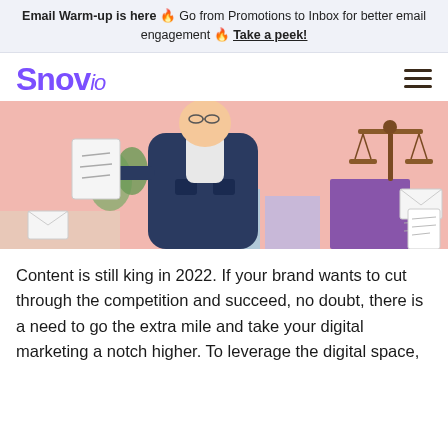Email Warm-up is here 🔥 Go from Promotions to Inbox for better email engagement 🔥 Take a peek!
Snovio
[Figure (illustration): Illustration of a person in a dark jacket holding a note/document, with a balance scale (scales of justice) on a purple pedestal, envelopes, and green plants in the background on a pink background.]
Content is still king in 2022. If your brand wants to cut through the competition and succeed, no doubt, there is a need to go the extra mile and take your digital marketing a notch higher. To leverage the digital space,